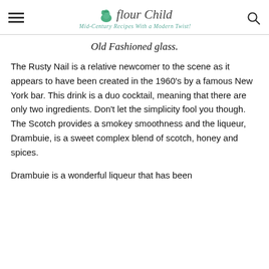Flour Child — Mid-Century Recipes With a Modern Twist!
Old Fashioned glass.
The Rusty Nail is a relative newcomer to the scene as it appears to have been created in the 1960's by a famous New York bar. This drink is a duo cocktail, meaning that there are only two ingredients. Don't let the simplicity fool you though. The Scotch provides a smokey smoothness and the liqueur, Drambuie, is a sweet complex blend of scotch, honey and spices.
Drambuie is a wonderful liqueur that has been